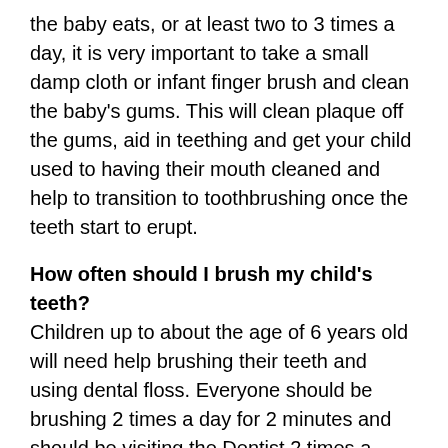the baby eats, or at least two to 3 times a day, it is very important to take a small damp cloth or infant finger brush and clean the baby's gums. This will clean plaque off the gums, aid in teething and get your child used to having their mouth cleaned and help to transition to toothbrushing once the teeth start to erupt.
How often should I brush my child's teeth?
Children up to about the age of 6 years old will need help brushing their teeth and using dental floss. Everyone should be brushing 2 times a day for 2 minutes and should be visiting the Dentist 2 times a year!
For children under the age of 2 you only need to use a tiny dot of fluoride toothpaste, about the size of a grain